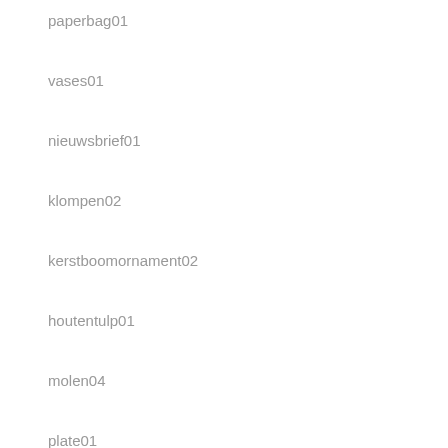paperbag01
vases01
nieuwsbrief01
klompen02
kerstboomornament02
houtentulp01
molen04
plate01